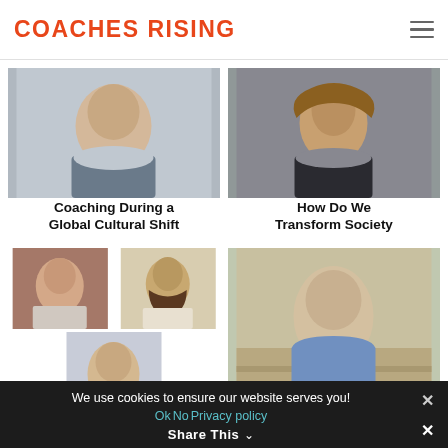COACHES RISING
[Figure (photo): Headshot of a man in a plaid shirt, smiling, cropped at shoulders]
[Figure (photo): Headshot of a woman with curly blonde hair wearing a dark scarf]
Coaching During a Global Cultural Shift
How Do We Transform Society
[Figure (photo): Composite of three headshots: Asian woman in front of brick wall, man with beard and crossed arms, man in light shirt smiling]
[Figure (photo): Man in blue shirt smiling on wooden stairs]
We use cookies to ensure our website serves you!
Ok  No  Privacy policy
Share This